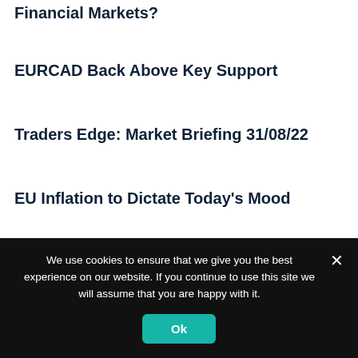Financial Markets?
EURCAD Back Above Key Support
Traders Edge: Market Briefing 31/08/22
EU Inflation to Dictate Today's Mood
Stock of the day: Philip Morris
We use cookies to ensure that we give you the best experience on our website. If you continue to use this site we will assume that you are happy with it.